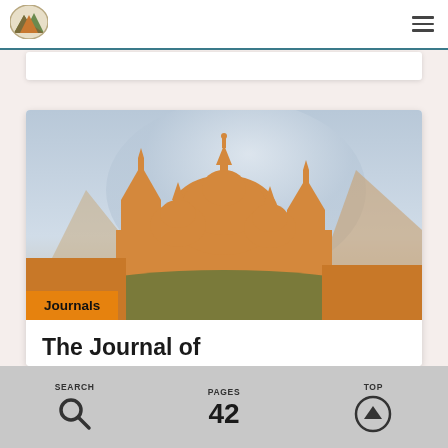[Figure (logo): Mountain/landscape logo oval icon in top left navigation bar]
[Figure (illustration): Journal cover illustration: orange silhouette of domed cathedral/church building against a blue-grey gradient sky with green hills at bottom]
Journals
The Journal of
SEARCH
PAGES
42
TOP